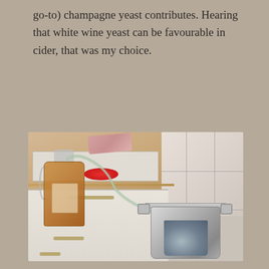go-to) champagne yeast contributes. Hearing that white wine yeast can be favourable in cider, that was my choice.
[Figure (photo): A glass jug containing apple cider with a siphon hose attached, sitting on a kitchen counter. The hose leads down to a stainless steel pot on the floor. The kitchen has white cabinet drawers with wooden handles and tile flooring visible in the background.]